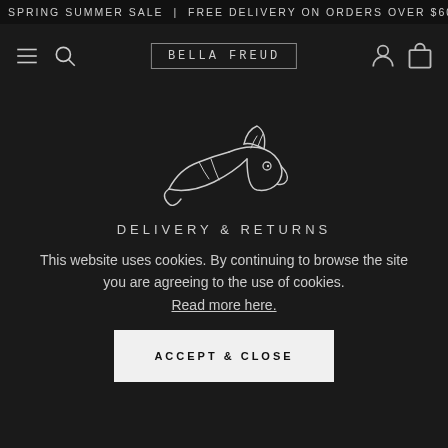SPRING SUMMER SALE | FREE DELIVERY ON ORDERS OVER $600 | DUTY
[Figure (screenshot): Bella Freud website navigation bar with hamburger menu, search icon, Bella Freud logo in bordered box, user account icon, and shopping bag icon on dark background]
[Figure (illustration): White line illustration of a dog (wolf/hound) head in profile on dark background, Bella Freud brand logo animal]
DELIVERY & RETURNS
This website uses cookies. By continuing to browse the site you are agreeing to the use of cookies. Read more here.
ACCEPT & CLOSE